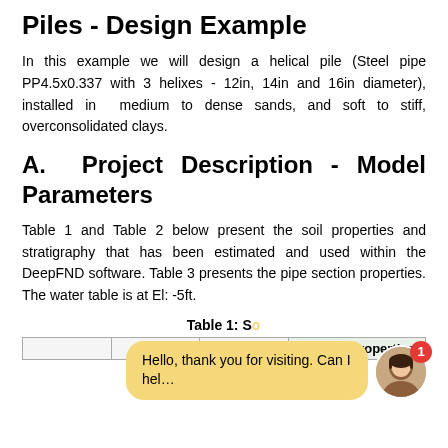Piles - Design Example
In this example we will design a helical pile (Steel pipe PP4.5x0.337 with 3 helixes - 12in, 14in and 16in diameter), installed in medium to dense sands, and soft to stiff, overconsolidated clays.
A. Project Description - Model Parameters
Table 1 and Table 2 below present the soil properties and stratigraphy that has been estimated and used within the DeepFND software. Table 3 presents the pipe section properties. The water table is at El: -5ft.
Table 1: Soil Properties
|  |  |  | General properties |
| --- | --- | --- | --- |
|  |  |  |  |